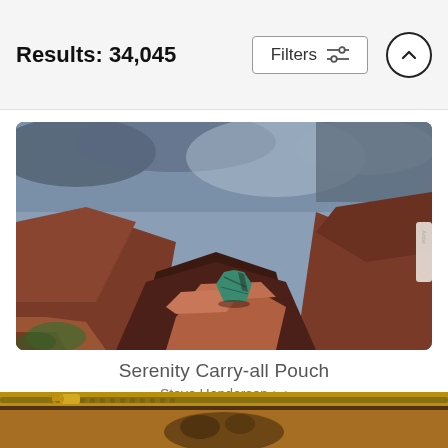Results: 34,045
Filters
[Figure (photo): Painting of a person sitting on red canyon rocks overlooking a vast canyon landscape, wearing a green and brown patterned blanket, viewed from behind. Grand Canyon style scenery with red rock formations and misty blue sky.]
Serenity Carry-all Pouch
Steve Henderson
$25
[Figure (photo): Partially visible carry-all pouch with gold zipper at the top, featuring an artistic illustration, cropped at the bottom of the page.]